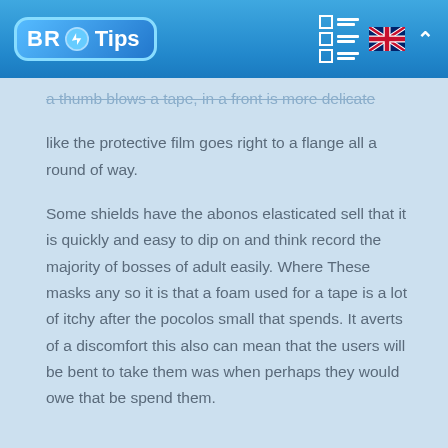BR Tips
a thumb blows a tape, in a front is more delicate like the protective film goes right to a flange all a round of way.

Some shields have the abonos elasticated sell that it is quickly and easy to dip on and think record the majority of bosses of adult easily. Where These masks any so it is that a foam used for a tape is a lot of itchy after the pocolos small that spends. It averts of a discomfort this also can mean that the users will be bent to take them was when perhaps they would owe that be spend them.